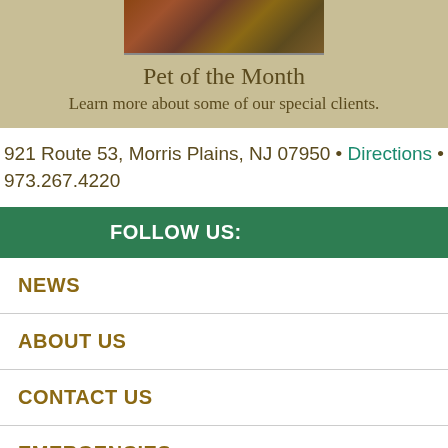[Figure (photo): Close-up photo of a pet (reptile/lizard) with brown and orange coloring]
Pet of the Month
Learn more about some of our special clients.
921 Route 53, Morris Plains, NJ 07950 • Directions • 973.267.4220
FOLLOW US:
NEWS
ABOUT US
CONTACT US
EMERGENCIES
HOME
SERVICES